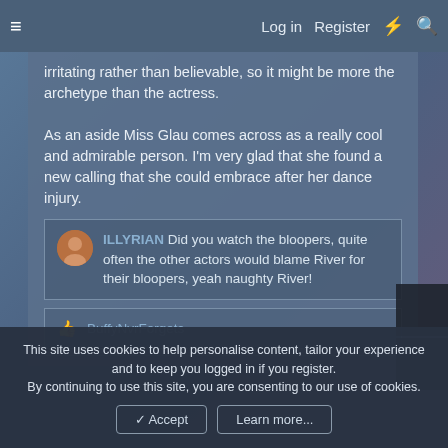Log in   Register
irritating rather than believable, so it might be more the archetype than the actress.

As an aside Miss Glau comes across as a really cool and admirable person. I'm very glad that she found a new calling that she could embrace after her dance injury.
ILLYRIAN Did you watch the bloopers, quite often the other actors would blame River for their bloopers, yeah naughty River!
BuffyNvrForgets
This site uses cookies to help personalise content, tailor your experience and to keep you logged in if you register.
By continuing to use this site, you are consenting to our use of cookies.